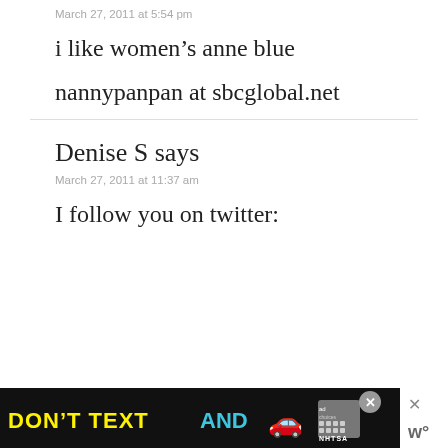March 27, 2011 at 5:54 pm
i like women’s anne blue
nannypanpan at sbcglobal.net
Denise S says
March 27, 2011 at 11:37 am
I follow you on twitter:
[Figure (screenshot): Advertisement banner at bottom: 'DON’T TEXT AND' in yellow/cyan bold text with a red car emoji, and an NHTSA ad badge. Close buttons on the right.]